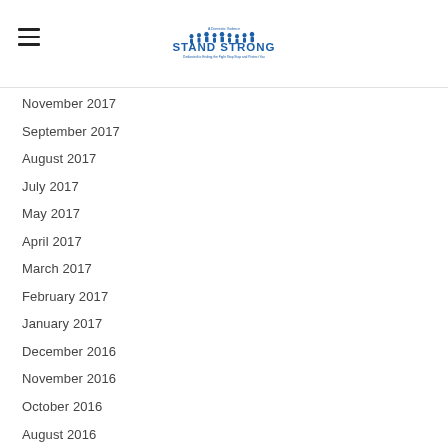Stand Strong logo and hamburger menu
November 2017
September 2017
August 2017
July 2017
May 2017
April 2017
March 2017
February 2017
January 2017
December 2016
November 2016
October 2016
August 2016
April 2016
March 2016
February 2016
Categories